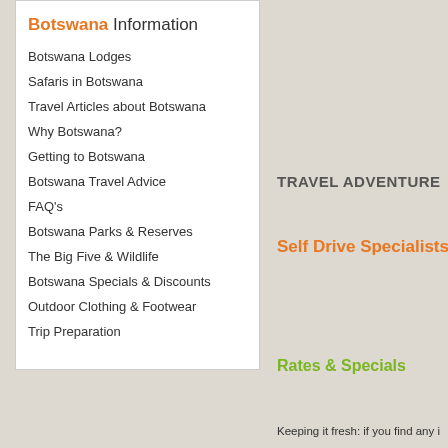Botswana Information
Botswana Lodges
Safaris in Botswana
Travel Articles about Botswana
Why Botswana?
Getting to Botswana
Botswana Travel Advice
FAQ's
Botswana Parks & Reserves
The Big Five & Wildlife
Botswana Specials & Discounts
Outdoor Clothing & Footwear
Trip Preparation
TRAVEL ADVENTURE
Self Drive Specialists
Rates & Specials
Keeping it fresh: if you find any i